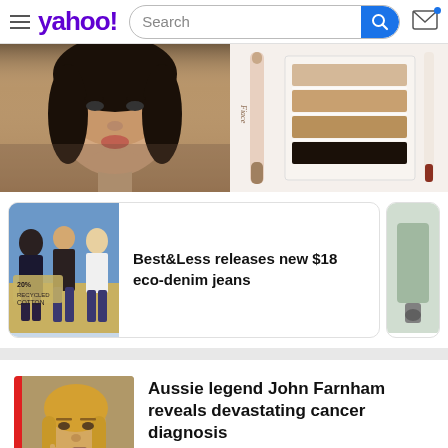yahoo! Search
[Figure (photo): Close-up photo of a woman's face (beauty/makeup editorial) on the left, and cosmetics products (eyeliner pencil and eyeshadow palette) on the right]
[Figure (photo): Best&Less eco-denim jeans product image with three women posing outdoors]
Best&Less releases new $18 eco-denim jeans
[Figure (photo): Partially visible image on the right side of the news card row]
[Figure (photo): Photo of John Farnham (man with long blond hair, resting chin on hand) with a red bar on left edge]
Aussie legend John Farnham reveals devastating cancer diagnosis
Yahoo Lifestyle